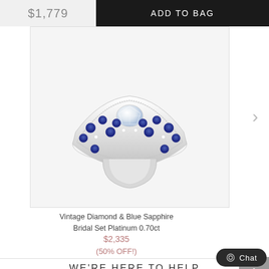$1,779
ADD TO BAG
[Figure (photo): Vintage Diamond & Blue Sapphire Bridal Set Platinum ring with blue sapphire stones and diamond center stone on white background]
Vintage Diamond & Blue Sapphire
Bridal Set Platinum 0.70ct
$2,335
(50% OFF!)
WE'RE HERE TO HELP
[Figure (illustration): Person/account icon in a circle]
[Figure (illustration): Phone handset icon in a circle]
[Figure (illustration): Envelope/email icon in a circle]